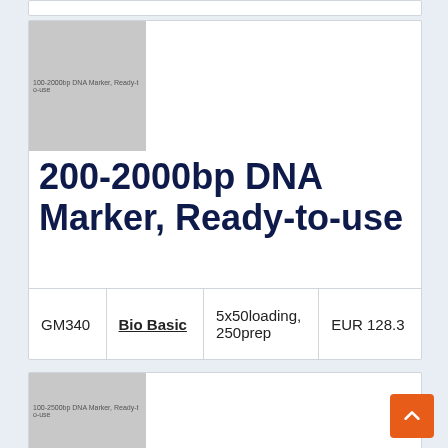[Figure (photo): Placeholder image for 200-2000bp DNA Marker, Ready-to-use product, gray rectangle with product name text]
200-2000bp DNA Marker, Ready-to-use
| Catalog | Supplier | Description | Price |
| --- | --- | --- | --- |
| GM340 | Bio Basic | 5x50loading, 250prep | EUR 128.3 |
[Figure (photo): Placeholder image for 100-2500bp DNA Marker, Ready-to-use product, gray rectangle with product name text]